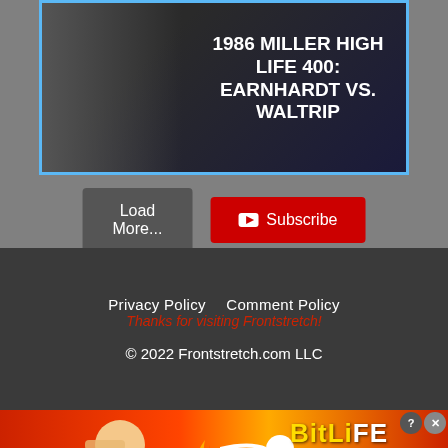[Figure (screenshot): Video thumbnail for 1986 Miller High Life 400: Earnhardt vs. Waltrip with blue border]
[Figure (screenshot): Load More and Subscribe buttons on gray background]
Privacy Policy   Comment Policy
Thanks for visiting Frontstretch!
© 2022 Frontstretch.com LLC
[Figure (infographic): BitLife advertisement banner: FAIL, START A NEW LIFE, animated character, flames]